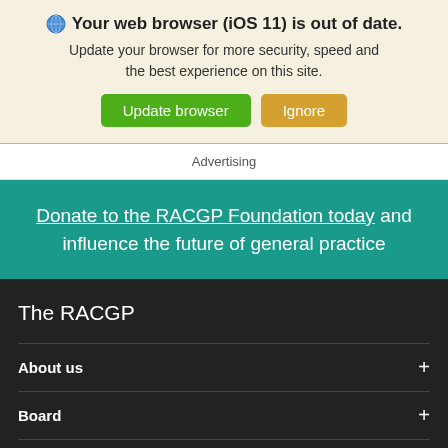Your web browser (iOS 11) is out of date. Update your browser for more security, speed and the best experience on this site. Update browser  Ignore
Advertising
Donate to the RACGP Foundation today and influence the future of general practice
The RACGP
About us +
Board +
Executive +
Governance +